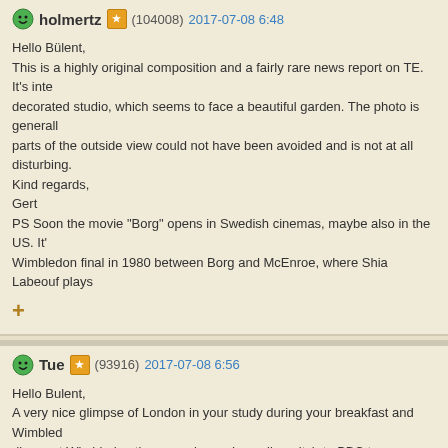holmertz (104008) 2017-07-08 6:48
Hello Bülent,
This is a highly original composition and a fairly rare news report on TE. It's inte decorated studio, which seems to face a beautiful garden. The photo is generall parts of the outside view could not have been avoided and is not at all disturbing. Kind regards,
Gert
PS Soon the movie "Borg" opens in Swedish cinemas, maybe also in the US. It' Wimbledon final in 1980 between Borg and McEnroe, where Shia Labeouf plays
Tue (93916) 2017-07-08 6:56
Hello Bulent,
A very nice glimpse of London in your study during your breakfast and Wimbled dinner at Wimbledon these weeks, as I usually switch to BBC to see some tenn beautiful windows of your study are a great background.
Lars
COSTANTINO (118256) 2017-07-08 7:38
Hello dear Bulent and have a nice time
and a happy new day Sunday
here we can a very well exposed photo.